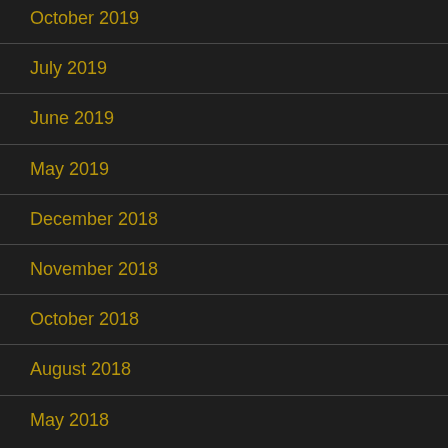October 2019
July 2019
June 2019
May 2019
December 2018
November 2018
October 2018
August 2018
May 2018